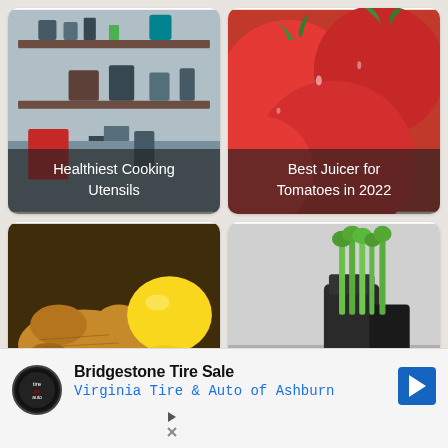[Figure (photo): Kitchen shelves with cooking utensils and pots]
Healthiest Cooking Utensils
[Figure (photo): Close-up of red tomatoes with green stems]
Best Juicer for Tomatoes in 2022
[Figure (photo): Ginger root and yellow lemons on dark surface]
Best Juicer For Ginger in 2022
[Figure (photo): Celery stalks and dark juicer appliance on counter]
Best Juicer for Celery in 2022
[Figure (screenshot): Advertisement banner: Bridgestone Tire Sale - Virginia Tire & Auto of Ashburn]